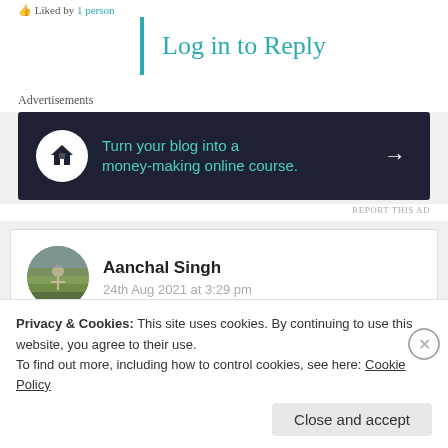Liked by 1 person
Log in to Reply
Advertisements
[Figure (illustration): Dark advertisement banner: Turn your blog into a money-making online course. with a house/bonsai icon and right arrow.]
REPORT THIS AD
Aanchal Singh
24th Aug 2021 at 3:29 pm
Oh wow! This is so wonderfully written . Loved it
Privacy & Cookies: This site uses cookies. By continuing to use this website, you agree to their use.
To find out more, including how to control cookies, see here: Cookie Policy
Close and accept